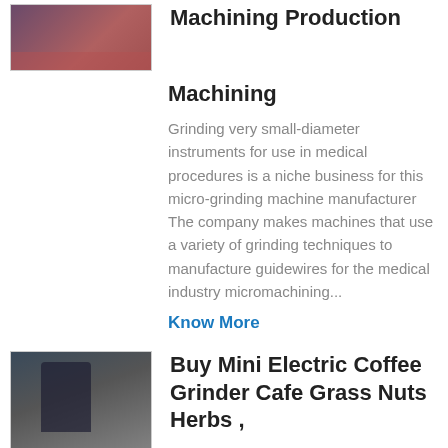[Figure (photo): Industrial/manufacturing floor photo thumbnail at top]
Machining Production
Machining
Grinding very small-diameter instruments for use in medical procedures is a niche business for this micro-grinding machine manufacturer The company makes machines that use a variety of grinding techniques to manufacture guidewires for the medical industry micromachining...
Know More
[Figure (photo): Industrial building interior photo thumbnail]
Buy Mini Electric Coffee Grinder Cafe Grass Nuts Herbs ,
FLASH SALE US 1233 50 OFF Buy Mini Electric Coffee Grinder Cafe Grass Nuts Herbs Grains Pepper Tobacco Spice Flour Mill Coffee Bean Grinder Machine USB Charge From Merchant Idun Furnish